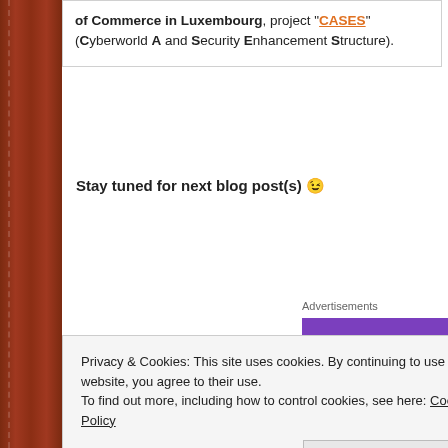of Commerce in Luxembourg, project "CASES" (Cyberworld A and Security Enhancement Structure).
Stay tuned for next blog post(s) 😉
Advertisements
Privacy & Cookies: This site uses cookies. By continuing to use this website, you agree to their use.
To find out more, including how to control cookies, see here: Cookie Policy
Close and accept